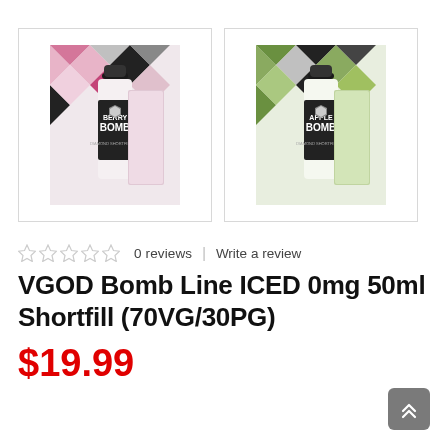[Figure (photo): Product photo of VGOD Berry Bomb ICED vape juice bottle with box, pink/black/white diamond pattern]
[Figure (photo): Product photo of VGOD Apple Bomb ICED vape juice bottle with box, green/black/white diamond pattern]
★★★★★   0 reviews  |  Write a review
VGOD Bomb Line ICED 0mg 50ml Shortfill (70VG/30PG)
$19.99